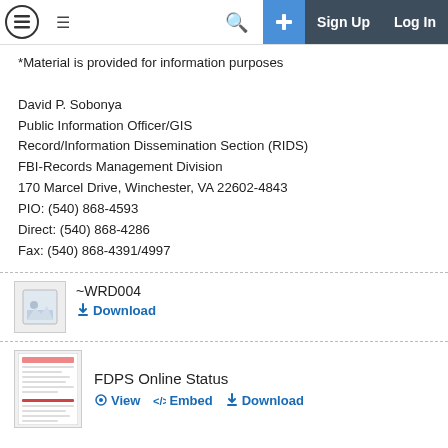Navigation bar with logo, menu, search, sign up, log in
*Material is provided for information purposes

David P. Sobonya
Public Information Officer/GIS
Record/Information Dissemination Section (RIDS)
FBI-Records Management Division
170 Marcel Drive, Winchester, VA 22602-4843
PIO: (540) 868-4593
Direct: (540) 868-4286
Fax: (540) 868-4391/4997
[Figure (other): Generic image attachment icon for ~WRD004 file]
~WRD004
Download
[Figure (screenshot): Thumbnail of FDPS Online Status document]
FDPS Online Status
View   Embed   Download